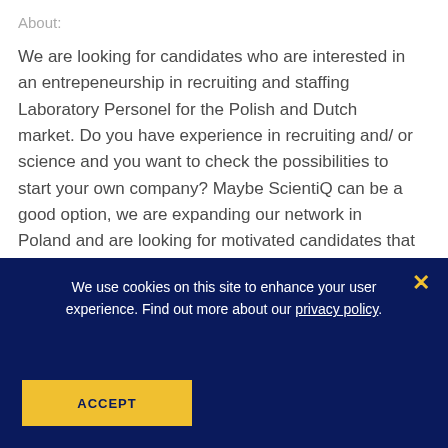About:
We are looking for candidates who are interested in an entrepeneurship in recruiting and staffing Laboratory Personel for the Polish and Dutch market. Do you have experience in recruiting and/ or science and you want to check the possibilities to start your own company? Maybe ScientiQ can be a good option, we are expanding our network in Poland and are looking for motivated candidates that have the motivation to start a business. What is recquired? Recruiting and commercial skills At le a bachelor education Good motivation and convincing
We use cookies on this site to enhance your user experience. Find out more about our privacy policy.
ACCEPT